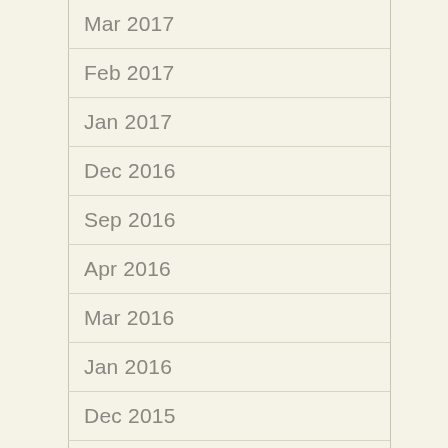Mar 2017
Feb 2017
Jan 2017
Dec 2016
Sep 2016
Apr 2016
Mar 2016
Jan 2016
Dec 2015
Nov 2015
Oct 2015